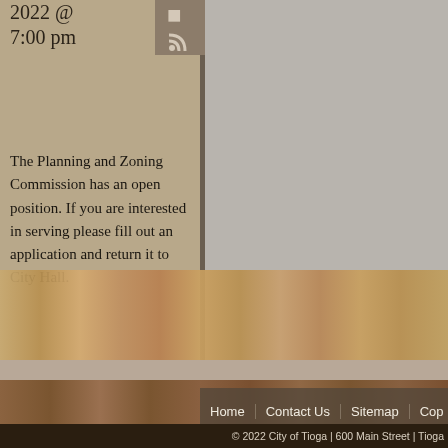2022 @ 7:00 pm
The Planning and Zoning Commission has an open position. If you are interested in serving please fill out an application and return it to City Hall.
[Figure (screenshot): Wood plank texture background spanning the lower portion of the page]
Home | Contact Us | Sitemap | Cop...
© 2022 City of Tioga | 600 Main Street | Tioga